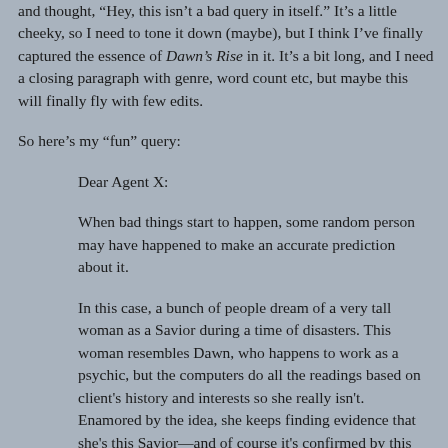and thought, “Hey, this isn’t a bad query in itself.” It’s a little cheeky, so I need to tone it down (maybe), but I think I’ve finally captured the essence of Dawn’s Rise in it. It’s a bit long, and I need a closing paragraph with genre, word count etc, but maybe this will finally fly with few edits.
So here’s my “fun” query:
Dear Agent X:
When bad things start to happen, some random person may have happened to make an accurate prediction about it.
In this case, a bunch of people dream of a very tall woman as a Savior during a time of disasters. This woman resembles Dawn, who happens to work as a psychic, but the computers do all the readings based on client's history and interests so she really isn't. Enamored by the idea, she keeps finding evidence that she's this Savior—and of course it's confirmed by this random guy (whose own friends think is nuts). He's